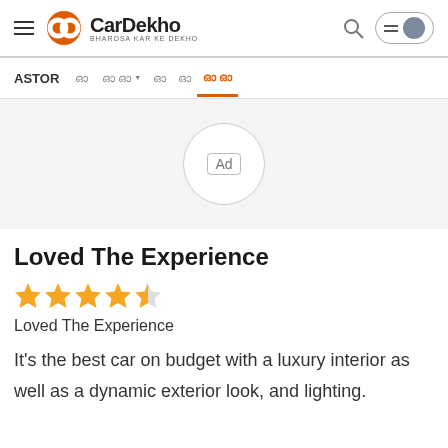CarDekho - BHAROSA KAR KE DEKHO
ASTOR | ഓbr | ഓffline variants | variants specs | ഓversions | ഓwners reviews
[Figure (other): Advertisement placeholder circle with 'Ad' label]
Loved The Experience
★★★★☆
Loved The Experience
It's the best car on budget with a luxury interior as well as a dynamic exterior look, and lighting.